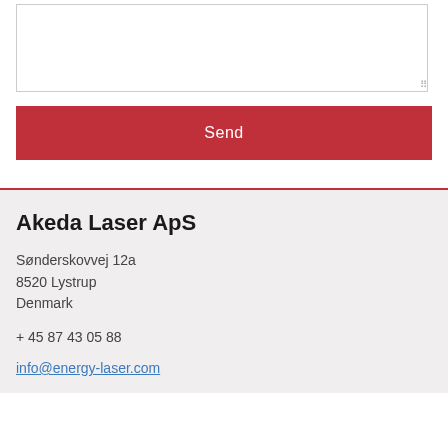[Figure (screenshot): A textarea input box with a resize handle in the bottom-right corner]
Send
Akeda Laser ApS
Sønderskovvej 12a
8520 Lystrup
Denmark
+ 45 87 43 05 88
info@energy-laser.com